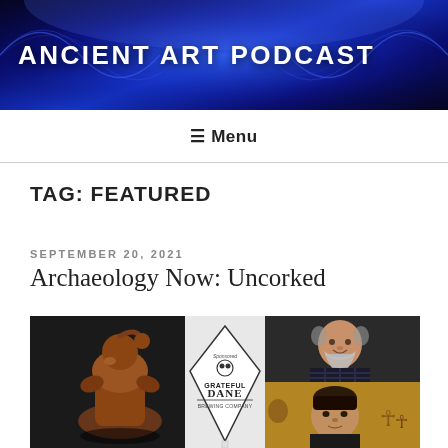ANCIENT ART PODCAST
≡ Menu
TAG: FEATURED
SEPTEMBER 20, 2021
Archaeology Now: Uncorked
[Figure (photo): Composite image showing an ancient ceramic vessel (figure-shaped, reddish-brown), a Grateful Dane Brewing Company logo/tap handle in the center, and two men's portraits on the right side against an Egyptian-themed background with ankh symbols.]